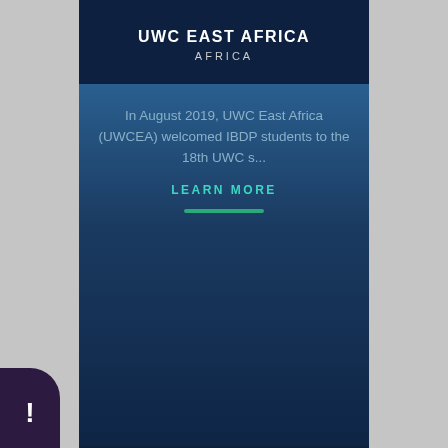UWC EAST AFRICA
AFRICA
In August 2019, UWC East Africa (UWCEA) welcomed IBDP students to the 18th UWC s...
LEARN MORE
PEARSON COLLEGE UWC
AMERICAS
Pearson College UWC is Canada's most...